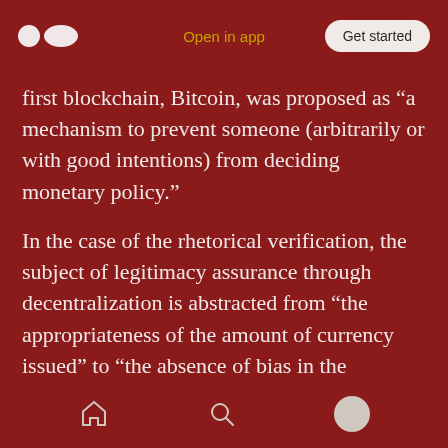Open in app | Get started
first blockchain, Bitcoin, was proposed as “a mechanism to prevent someone (arbitrarily or with good intentions) from deciding monetary policy.”
In the case of the rhetorical verification, the subject of legitimacy assurance through decentralization is abstracted from “the appropriateness of the amount of currency issued” to “the absence of bias in the information.” It can be said, though, that the scope of what is “ hard to justify in theory to
home search profile